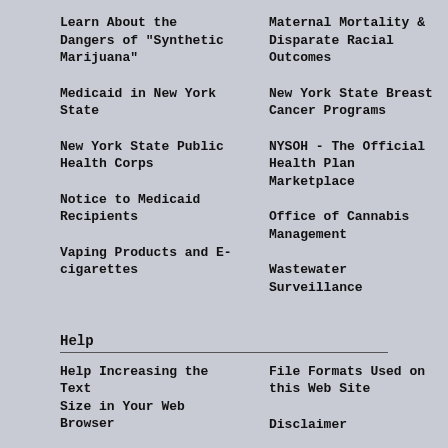Learn About the Dangers of "Synthetic Marijuana"
Maternal Mortality & Disparate Racial Outcomes
Medicaid in New York State
New York State Breast Cancer Programs
New York State Public Health Corps
NYSOH - The Official Health Plan Marketplace
Notice to Medicaid Recipients
Office of Cannabis Management
Vaping Products and E-cigarettes
Wastewater Surveillance
Help
Help Increasing the Text Size in Your Web Browser
File Formats Used on this Web Site
Disclaimer
Privacy Policy
Accessibility